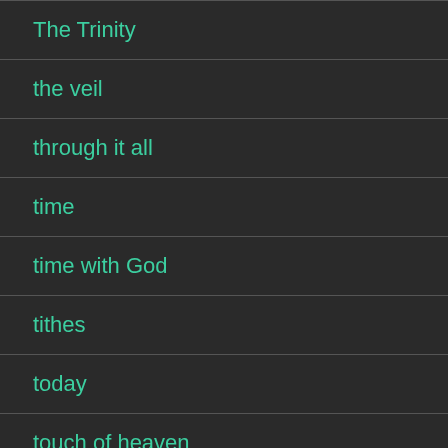The Trinity
the veil
through it all
time
time with God
tithes
today
touch of heaven